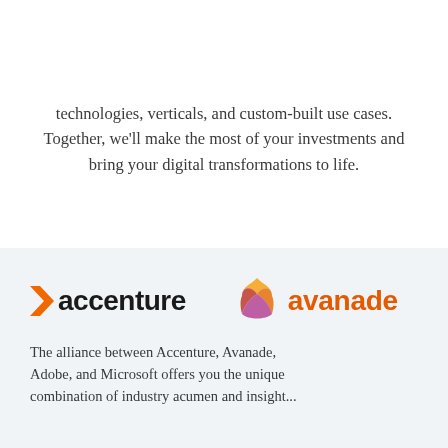technologies, verticals, and custom-built use cases. Together, we'll make the most of your investments and bring your digital transformations to life.
[Figure (logo): Accenture logo (orange chevron > followed by bold lowercase 'accenture') and Avanade logo (intertwined diamond shape in orange/pink/red gradient and 'avanade' in orange text)]
The alliance between Accenture, Avanade, Adobe, and Microsoft offers you the unique combination of industry acumen and insight...